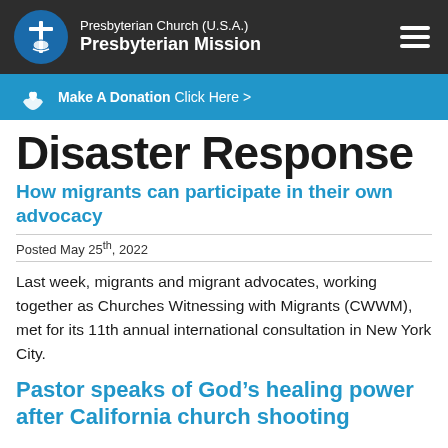Presbyterian Church (U.S.A.) Presbyterian Mission
Make A Donation Click Here >
Disaster Response
How migrants can participate in their own advocacy
Posted May 25th, 2022
Last week, migrants and migrant advocates, working together as Churches Witnessing with Migrants (CWWM), met for its 11th annual international consultation in New York City.
Pastor speaks of God’s healing power after California church shooting